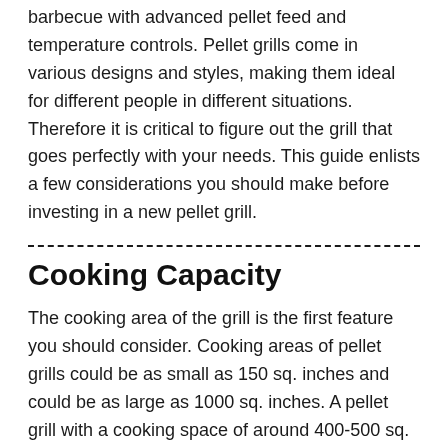barbecue with advanced pellet feed and temperature controls. Pellet grills come in various designs and styles, making them ideal for different people in different situations. Therefore it is critical to figure out the grill that goes perfectly with your needs. This guide enlists a few considerations you should make before investing in a new pellet grill.
Cooking Capacity
The cooking area of the grill is the first feature you should consider. Cooking areas of pellet grills could be as small as 150 sq. inches and could be as large as 1000 sq. inches. A pellet grill with a cooking space of around 400-500 sq. inches is large enough for a normal household.
Grills between 150-300 sq. inches are ideal for individual